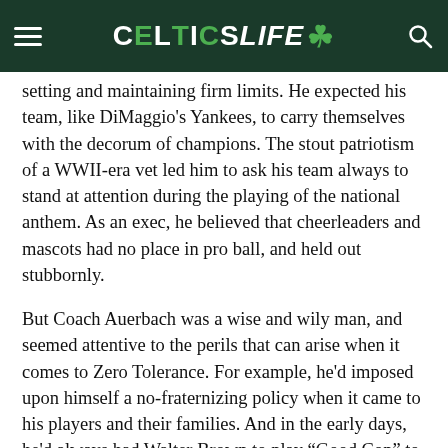CelticsLife
setting and maintaining firm limits. He expected his team, like DiMaggio's Yankees, to carry themselves with the decorum of champions. The stout patriotism of a WWII-era vet led him to ask his team always to stand at attention during the playing of the national anthem. As an exec, he believed that cheerleaders and mascots had no place in pro ball, and held out stubbornly.
But Coach Auerbach was a wise and wily man, and seemed attentive to the perils that can arise when it comes to Zero Tolerance. For example, he'd imposed upon himself a no-fraternizing policy when it came to his players and their families. And in the early days, he'd always had Walter Brown to play “Good Cop” to his “Bad Cop” if the need arose.
But even Mr. Brown’s good cheer and even better heart were deemed insufficient when, shortly after joining the